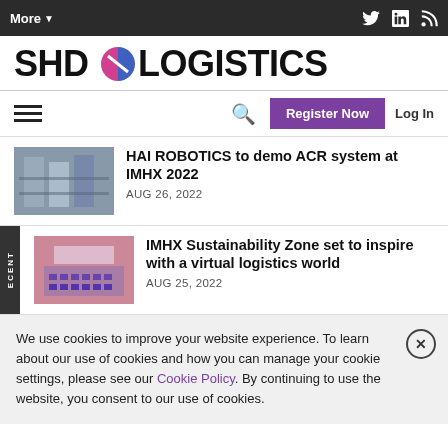More▼
[Figure (logo): SHD Logistics logo with circular icon between SHD and LOGISTICS text]
HAI ROBOTICS to demo ACR system at IMHX 2022
AUG 26, 2022
IMHX Sustainability Zone set to inspire with a virtual logistics world
AUG 25, 2022
We use cookies to improve your website experience. To learn about our use of cookies and how you can manage your cookie settings, please see our Cookie Policy. By continuing to use the website, you consent to our use of cookies.